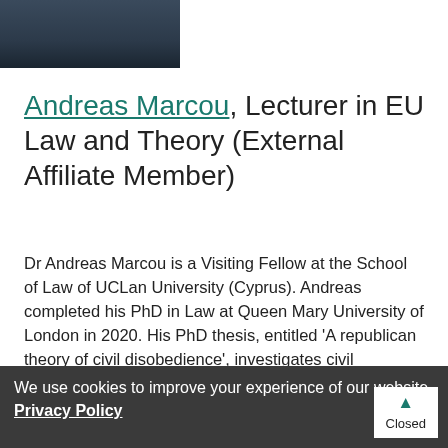[Figure (photo): Partial photo of Andreas Marcou, showing shoulders and lower face, wearing a dark plaid shirt, cropped at top of image]
Andreas Marcou, Lecturer in EU Law and Theory (External Affiliate Member)
Dr Andreas Marcou is a Visiting Fellow at the School of Law of UCLan University (Cyprus). Andreas completed his PhD in Law at Queen Mary University of London in 2020. His PhD thesis, entitled ‘A republican theory of civil disobedience’, investigates civil disobedience as a political action within a democratic society. It proposes
We use cookies to improve your experience of our website. Privacy Policy